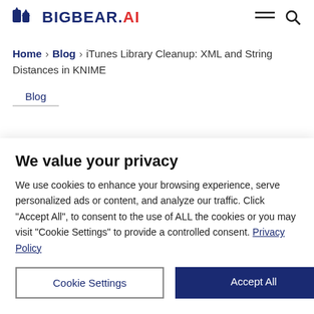BIGBEAR.AI
Home > Blog > iTunes Library Cleanup: XML and String Distances in KNIME
Blog
We value your privacy
We use cookies to enhance your browsing experience, serve personalized ads or content, and analyze our traffic. Click “Accept All”, to consent to the use of ALL the cookies or you may visit "Cookie Settings" to provide a controlled consent. Privacy Policy
Cookie Settings | Accept All